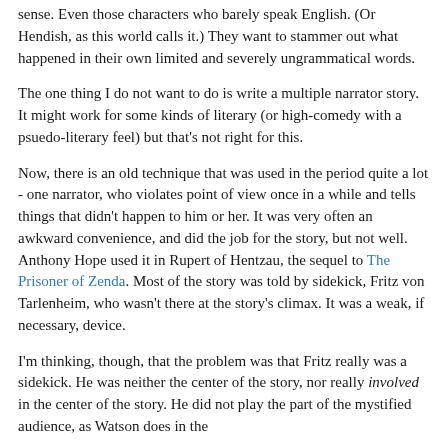sense. Even those characters who barely speak English. (Or Hendish, as this world calls it.) They want to stammer out what happened in their own limited and severely ungrammatical words.
The one thing I do not want to do is write a multiple narrator story. It might work for some kinds of literary (or high-comedy with a psuedo-literary feel) but that's not right for this.
Now, there is an old technique that was used in the period quite a lot - one narrator, who violates point of view once in a while and tells things that didn't happen to him or her. It was very often an awkward convenience, and did the job for the story, but not well. Anthony Hope used it in Rupert of Hentzau, the sequel to The Prisoner of Zenda. Most of the story was told by sidekick, Fritz von Tarlenheim, who wasn't there at the story's climax. It was a weak, if necessary, device.
I'm thinking, though, that the problem was that Fritz really was a sidekick. He was neither the center of the story, nor really involved in the center of the story. He did not play the part of the mystified audience, as Watson does in the